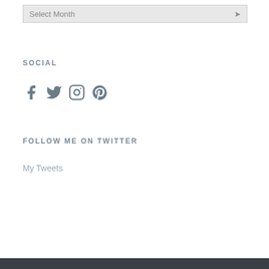[Figure (other): Dropdown selector showing 'Select Month' with a chevron arrow on the right]
SOCIAL
[Figure (other): Social media icons: Facebook, Twitter, Instagram, Pinterest in gray]
FOLLOW ME ON TWITTER
My Tweets